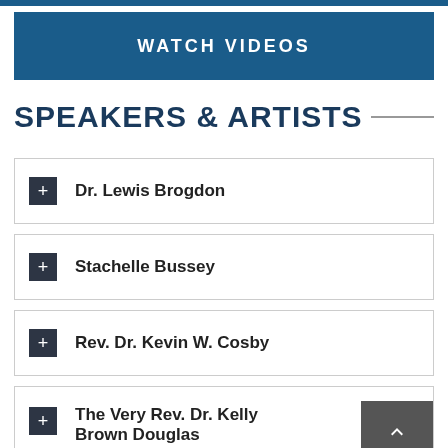WATCH VIDEOS
SPEAKERS & ARTISTS
Dr. Lewis Brogdon
Stachelle Bussey
Rev. Dr. Kevin W. Cosby
The Very Rev. Dr. Kelly Brown Douglas